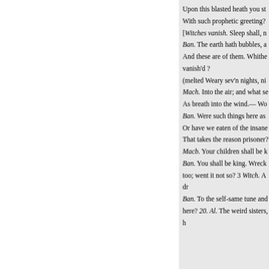Upon this blasted heath you st
With such prophetic greeting?
[Witches vanish. Sleep shall, n
Ban. The earth hath bubbles, a
And these are of them. Whithe
vanish'd ?
(melted Weary sev'n nights, ni
Mach. Into the air; and what se
As breath into the wind.— Wo
Ban. Were such things here as
Or have we eaten of the insane
That takes the reason prisoner?
Macb. Your children shall be k
Ban. You shall be king. Wreck
too; went it not so? 3 Witch. A dr
Ban. To the self-same tune and
here? 20. Al. The weird sisters, h